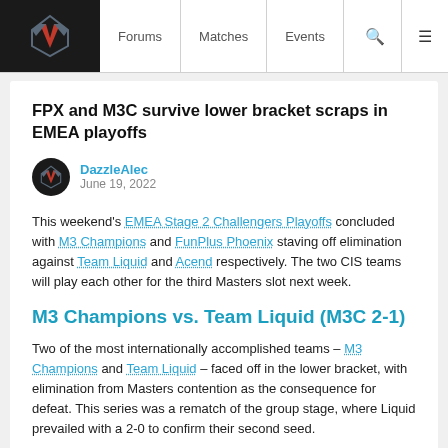Forums | Matches | Events
FPX and M3C survive lower bracket scraps in EMEA playoffs
DazzleAlec
June 19, 2022
This weekend's EMEA Stage 2 Challengers Playoffs concluded with M3 Champions and FunPlus Phoenix staving off elimination against Team Liquid and Acend respectively. The two CIS teams will play each other for the third Masters slot next week.
M3 Champions vs. Team Liquid (M3C 2-1)
Two of the most internationally accomplished teams – M3 Champions and Team Liquid – faced off in the lower bracket, with elimination from Masters contention as the consequence for defeat. This series was a rematch of the group stage, where Liquid prevailed with a 2-0 to confirm their second seed.